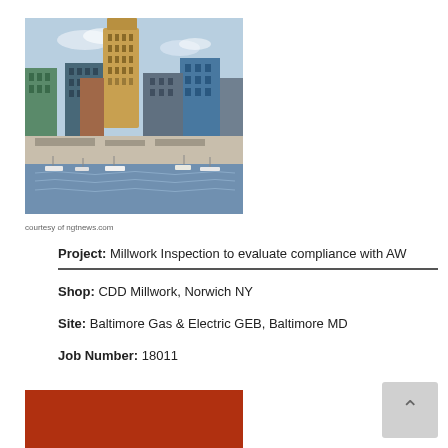[Figure (photo): Aerial view of Baltimore Inner Harbor skyline with buildings and waterfront]
courtesy of ngtnews.com
Project: Millwork Inspection to evaluate compliance with AW...
Shop: CDD Millwork, Norwich NY
Site: Baltimore Gas & Electric GEB, Baltimore MD
Job Number: 18011
[Figure (photo): Red/brown colored block or image at bottom of page]